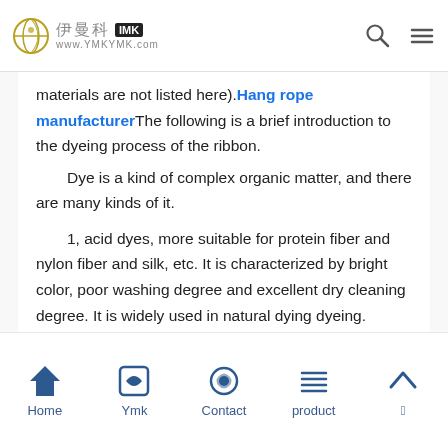伊曼科 IMK www.YMKYMK.com
materials are not listed here).Hang rope manufacturerThe following is a brief introduction to the dyeing process of the ribbon.
Dye is a kind of complex organic matter, and there are many kinds of it.
1, acid dyes, more suitable for protein fiber and nylon fiber and silk, etc. It is characterized by bright color, poor washing degree and excellent dry cleaning degree. It is widely used in natural dying dyeing.
Home  Ymk  Contact  product  ↑